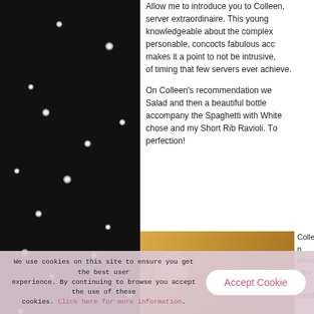[Figure (photo): Dark background photo with white bokeh dots of light scattered across a black background, occupying the left column of the page.]
Allow me to introduce you to Co... server extraordinaire. This youn... knowledgeable about the comple... personable, concocts fabulous ac... makes it a point to not be intrus... of timing that few servers ever a...
On Colleen’s recommendation w... Salad and then a beautiful bottle ... accompany the Spaghetti with W... chose and my Short Rib Ravioli. T... perfection!
[Figure (photo): Photo of two people smiling in a restaurant setting with warm lighting. A man and a woman posing together.]
Collee... whose... also a... hands...
We use cookies on this site to ensure you get the best user experience. By continuing to browse you accept the use of these cookies. Click here for more information.
Accept Cookie